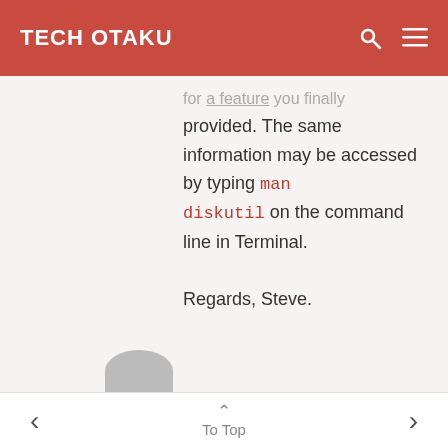TECH OTAKU
for a feature you finally provided. The same information may be accessed by typing man diskutil on the command line in Terminal.

Regards, Steve.
Reply
< To Top >